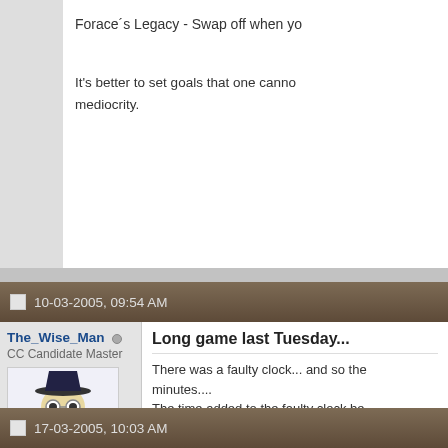Forace´s Legacy - Swap off when yo
It's better to set goals that one cannot... mediocrity.
10-03-2005, 09:54 AM
The_Wise_Man
CC Candidate Master
Join Date: Feb 2004
Location: St George
Posts: 393
Long game last Tuesday...
There was a faulty clock... and so the minutes....
The time added to the faulty clock be... Charles to replace it! But even with th... in a time-scramble finish...

But lucky for us the security guards w... at 12.00am.
17-03-2005, 10:03 AM